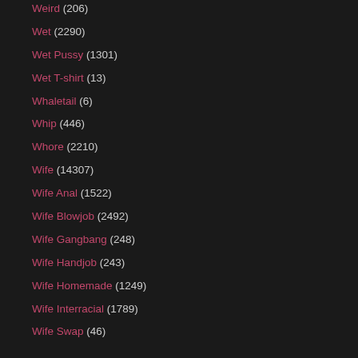Weird (206)
Wet (2290)
Wet Pussy (1301)
Wet T-shirt (13)
Whaletail (6)
Whip (446)
Whore (2210)
Wife (14307)
Wife Anal (1522)
Wife Blowjob (2492)
Wife Gangbang (248)
Wife Handjob (243)
Wife Homemade (1249)
Wife Interracial (1789)
Wife Swap (46)